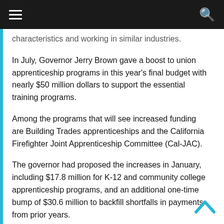≡  [hamburger menu]   [search icon]
characteristics and working in similar industries.
In July, Governor Jerry Brown gave a boost to union apprenticeship programs in this year's final budget with nearly $50 million dollars to support the essential training programs.
Among the programs that will see increased funding are Building Trades apprenticeships and the California Firefighter Joint Apprenticeship Committee (Cal-JAC).
The governor had proposed the increases in January, including $17.8 million for K-12 and community college apprenticeship programs, and an additional one-time bump of $30.6 million to backfill shortfalls in payments from prior years.
In September, local Sacramento union members saw a win when UNITE HERE Local 49 members at the